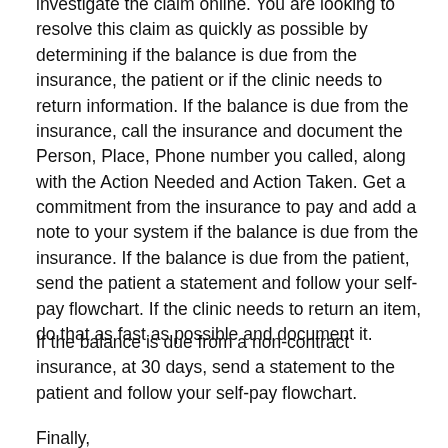investigate the claim online. You are looking to resolve this claim as quickly as possible by determining if the balance is due from the insurance, the patient or if the clinic needs to return information. If the balance is due from the insurance, call the insurance and document the Person, Place, Phone number you called, along with the Action Needed and Action Taken. Get a commitment from the insurance to pay and add a note to your system if the balance is due from the insurance. If the balance is due from the patient, send the patient a statement and follow your self-pay flowchart. If the clinic needs to return an item, do that as fast as possible and document it.
If the balance is due from a non-contract insurance, at 30 days, send a statement to the patient and follow your self-pay flowchart.
Finally, confirm that the claim is being processed correctly...